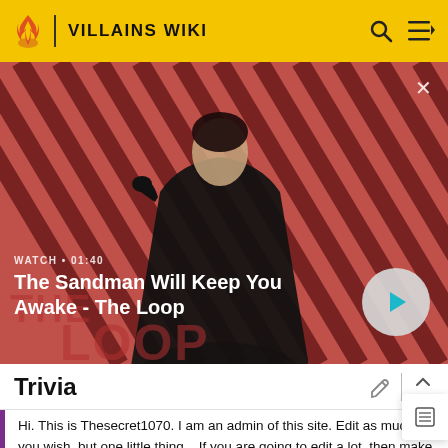VILLAINS WIKI
[Figure (screenshot): Video thumbnail showing a dark-clothed figure with a raven on shoulder against a red and dark diagonal striped background. Title reads 'The Sandman Will Keep You Awake - The Loop'. WATCH • 01:40 label visible with a play button.]
Trivia
Hi. This is Thesecret1070. I am an admin of this site. Edit as much as you wish, but one little thing... If you are going to edit a lot, then make yourself a user and login. Other than that, enjoy Villains Wiki!!!